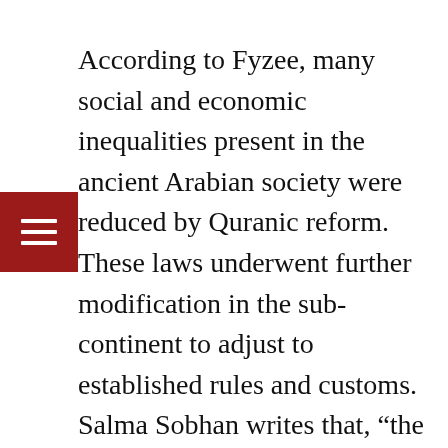According to Fyzee, many social and economic inequalities present in the ancient Arabian society were reduced by Quranic reform. These laws underwent further modification in the sub-continent to adjust to established rules and customs. Salma Sobhan writes that, “the Koran is to be likened to an ‘amending act’ rather an exhaustive code… in the changed society, so there is little reason to perpetuate this distinction” (between the treatment of men and women).
Bangladesh remains a poor country where women hold inferior positions to men in both society and the family. Given the existing patriarchal values and culture, backed by religious beliefs, women remain dependent on fathers, husbands, brothers